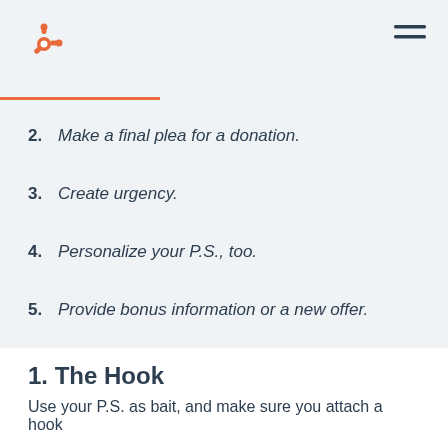HubSpot logo and navigation
2. Make a final plea for a donation.
3. Create urgency.
4. Personalize your P.S., too.
5. Provide bonus information or a new offer.
6. Share a testimonial.
1. The Hook
Use your P.S. as bait, and make sure you attach a hook